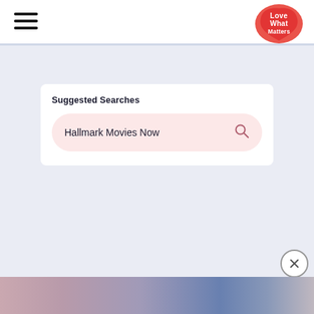Navigation menu icon and Love What Matters logo
Suggested Searches
Hallmark Movies Now
[Figure (screenshot): Close/dismiss button circle with X icon in bottom right area]
[Figure (photo): Partial image strip at bottom of page showing colorful scene, partially cut off]